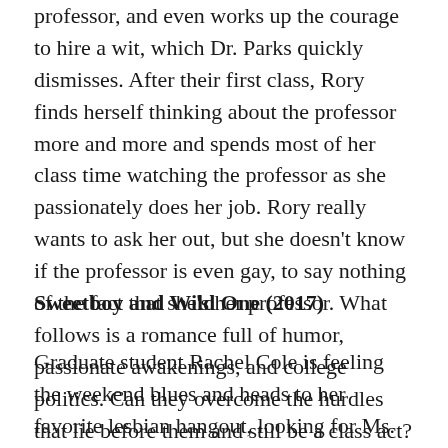professor, and even works up the courage to hire a wit, which Dr. Parks quickly dismisses. After their first class, Rory finds herself thinking about the professor more and more and spends most of her class time watching the professor as she passionately does her job. Rory really wants to ask her out, but she doesn't know if the professor is even gay, to say nothing of the fact that she's her professor. What follows is a romance full of humor, passionate awakenings, and college politics. Can they overcome the hurdles that lie before them and still be a class act?
Sweetboy and Wild One (2017)
Graduate student Rachel Cole is feeling the weekend blues and heads to her favorite lesbian hangout, looking for Ms. Right Now. She is immediately attracted to a brown- haired, brown-eyed, flannel-wearing soulful singer named Bobby Layton. But when Bobby introduces